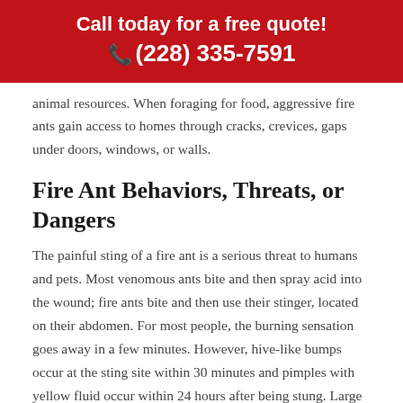Call today for a free quote!
📞 (228) 335-7591
animal resources. When foraging for food, aggressive fire ants gain access to homes through cracks, crevices, gaps under doors, windows, or walls.
Fire Ant Behaviors, Threats, or Dangers
The painful sting of a fire ant is a serious threat to humans and pets. Most venomous ants bite and then spray acid into the wound; fire ants bite and then use their stinger, located on their abdomen. For most people, the burning sensation goes away in a few minutes. However, hive-like bumps occur at the sting site within 30 minutes and pimples with yellow fluid occur within 24 hours after being stung. Large colonies can damage plants, lawns, and outdoor electrical fixtures. Due to the serious threat